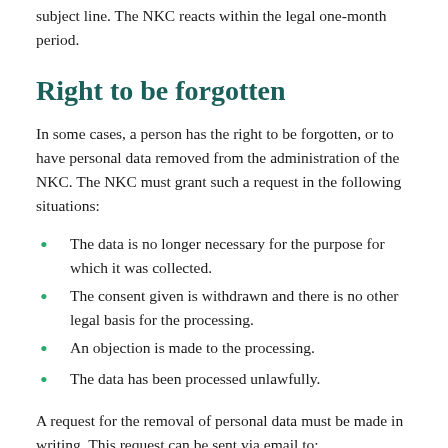subject line. The NKC reacts within the legal one-month period.
Right to be forgotten
In some cases, a person has the right to be forgotten, or to have personal data removed from the administration of the NKC. The NKC must grant such a request in the following situations:
The data is no longer necessary for the purpose for which it was collected.
The consent given is withdrawn and there is no other legal basis for the processing.
An objection is made to the processing.
The data has been processed unlawfully.
A request for the removal of personal data must be made in writing. This request can be sent via email to: